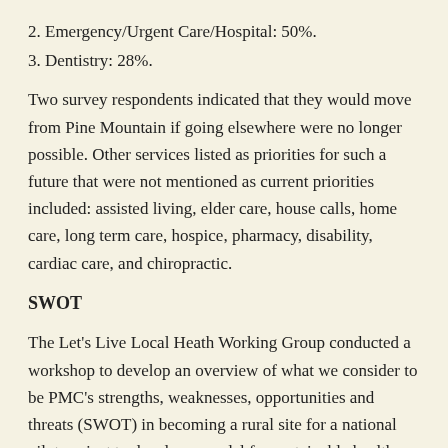2. Emergency/Urgent Care/Hospital: 50%.
3. Dentistry: 28%.
Two survey respondents indicated that they would move from Pine Mountain if going elsewhere were no longer possible. Other services listed as priorities for such a future that were not mentioned as current priorities included: assisted living, elder care, house calls, home care, long term care, hospice, pharmacy, disability, cardiac care, and chiropractic.
SWOT
The Let's Live Local Heath Working Group conducted a workshop to develop an overview of what we consider to be PMC's strengths, weaknesses, opportunities and threats (SWOT) in becoming a rural site for a national pilot project to develop a model for sustainable health care.
STRENGTHS
• Established in the early 1970's, most residents have chosen